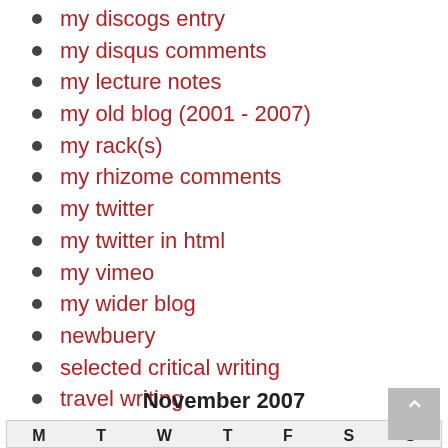my discogs entry
my disqus comments
my lecture notes
my old blog (2001 - 2007)
my rack(s)
my rhizome comments
my twitter
my twitter in html
my vimeo
my wider blog
newbuery
selected critical writing
travel writing
November 2007